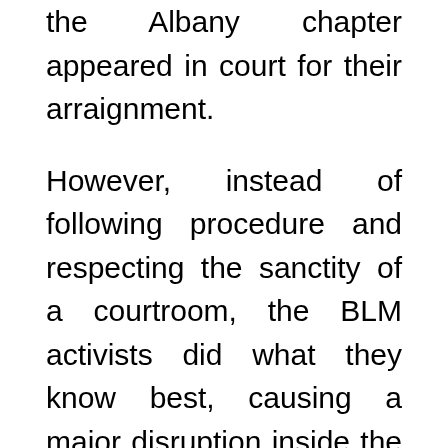the Albany chapter appeared in court for their arraignment.
However, instead of following procedure and respecting the sanctity of a courtroom, the BLM activists did what they know best, causing a major disruption inside the courtroom.
Aside from the standard chants these people are accustomed to, they each brought a Tupperware box filled with cockroaches into the courtroom with them.